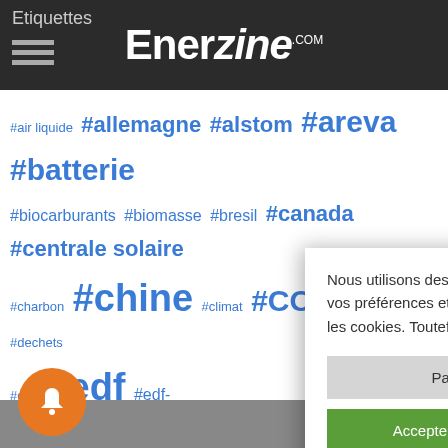Etiquettes — Enerzine.com
#air liquide #allemagne #alstom #areva #batterie #biocarburants #biomasse #bresil #canada #centrale solaire #charbon #chine #climat #CO2 #consommation #dechets #eau #edf #edf- #europe #fi #hydrogène # #parc eolien #p #renouvelable #total #usa #e
Nous utilisons des cookies sur notre site web pour vous offrir l'expérience la plus pertinente en mémorisant vos préférences et vos visites répétées. En cliquant sur "Accepter tout", vous consentez à l'utilisation de TOUS les cookies. Toutefois, vous pouvez visiter "Paramètres des cookies" pour fournir un consentement contrôlé.
Paramètres des cookies
Accepter tout